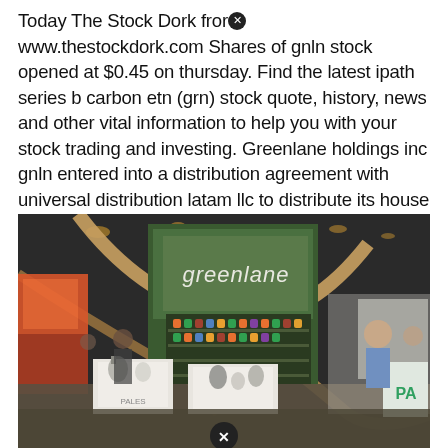Today The Stock Dork from www.thestockdork.com Shares of gnln stock opened at $0.45 on thursday. Find the latest ipath series b carbon etn (grn) stock quote, history, news and other vital information to help you with your stock trading and investing. Greenlane holdings inc gnln entered into a distribution agreement with universal distribution latam llc to distribute its house brands in latin america.;
[Figure (photo): Photo of a Greenlane trade show booth display with green signage reading 'greenlane', product shelving, display tables with products, and expo hall background with people and other booths visible.]